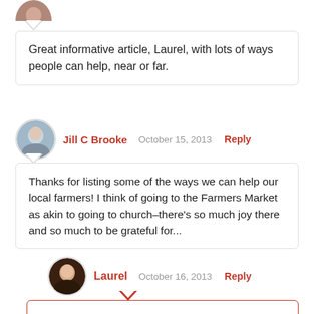[Figure (photo): Partial circular avatar image of a person at the top of the page]
Great informative article, Laurel, with lots of ways people can help, near or far.
[Figure (photo): Circular avatar photo of Jill C Brooke]
Jill C Brooke   October 15, 2013   Reply
Thanks for listing some of the ways we can help our local farmers! I think of going to the Farmers Market as akin to going to church–there's so much joy there and so much to be grateful for...
[Figure (photo): Circular avatar photo of Laurel]
Laurel   October 16, 2013   Reply
Indeed, the farmers' market is a treat for the